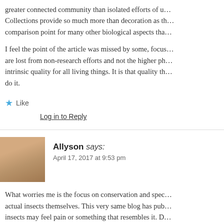greater connected community than isolated efforts of u... Collections provide so much more than decoration as th... comparison point for many other biological aspects tha...
I feel the point of the article was missed by some, focus... are lost from non-research efforts and not the higher ph... intrinsic quality for all living things. It is that quality th... do it.
Like
Log in to Reply
Allyson says:
April 17, 2017 at 9:53 pm
What worries me is the focus on conservation and spec... actual insects themselves. This very same blog has pub... insects may feel pain or something that resembles it. D...